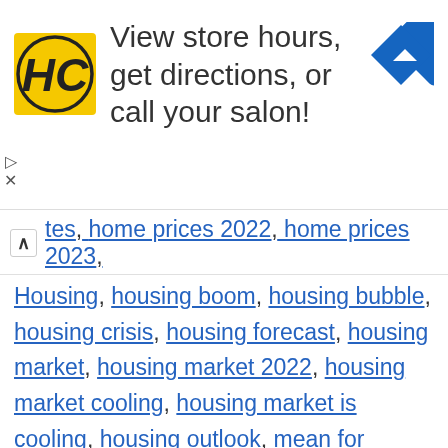[Figure (advertisement): Ad banner for a salon with HC logo and navigation icon. Text reads: View store hours, get directions, or call your salon!]
…tes, home prices 2022, home prices 2023, Housing, housing boom, housing bubble, housing crisis, housing forecast, housing market, housing market 2022, housing market cooling, housing market is cooling, housing outlook, mean for housing, more homes going on the market, mortgage, mortgage debt, Real estate, slowing home price growth, slowing housing market, us home prices, us house prices, us housing market, us real estate, us real estate 2022, us real estate outlook, when to buy a house